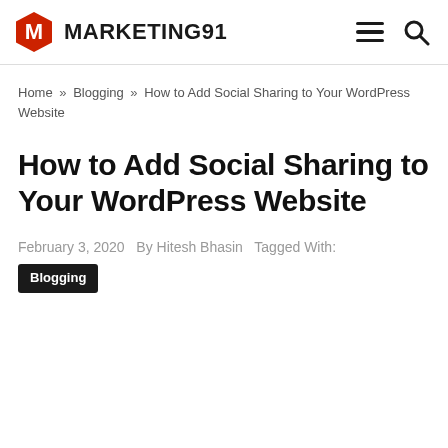MARKETING91
Home » Blogging » How to Add Social Sharing to Your WordPress Website
How to Add Social Sharing to Your WordPress Website
February 3, 2020   By Hitesh Bhasin   Tagged With: Blogging